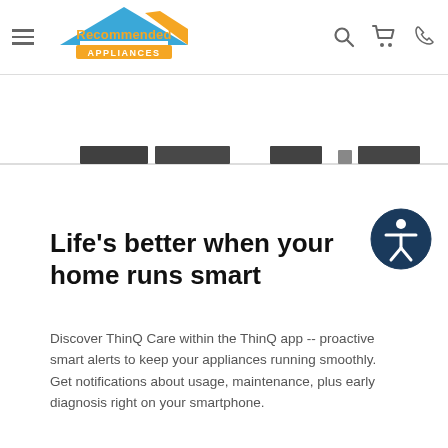Recommended Appliances
[Figure (logo): Recommended Appliances logo with house roofline graphic in blue and orange, company name in orange and yellow below]
[Figure (illustration): Partial product images (dark appliance panels) visible at the bottom of a horizontal strip]
[Figure (illustration): Circular accessibility icon button (person inside circle) in dark blue/navy]
Life's better when your home runs smart
Discover ThinQ Care within the ThinQ app -- proactive smart alerts to keep your appliances running smoothly. Get notifications about usage, maintenance, plus early diagnosis right on your smartphone.